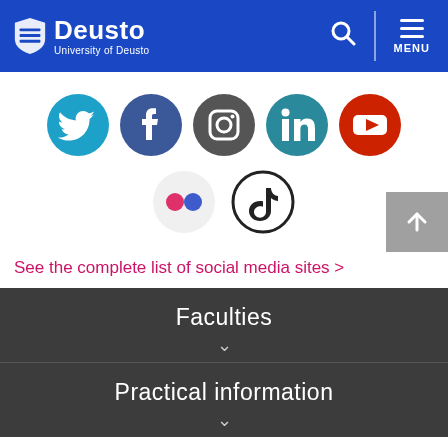Deusto University of Deusto
[Figure (logo): University of Deusto logo with blue shield icon, white text 'Deusto' and 'University of Deusto']
[Figure (infographic): Social media icons row: Twitter (cyan circle), Facebook (blue circle), Instagram (dark grey circle), LinkedIn (teal circle), YouTube (red circle), then second row: Flickr (light grey circle with pink/blue dots), TikTok (white circle with black TikTok logo)]
See the complete list of social media sites >
Faculties
Practical information